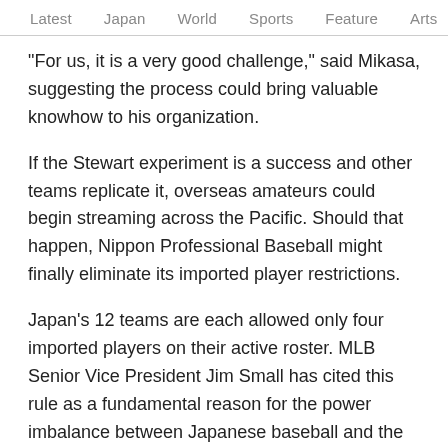Latest   Japan   World   Sports   Feature   Arts
"For us, it is a very good challenge," said Mikasa, suggesting the process could bring valuable knowhow to his organization.
If the Stewart experiment is a success and other teams replicate it, overseas amateurs could begin streaming across the Pacific. Should that happen, Nippon Professional Baseball might finally eliminate its imported player restrictions.
Japan's 12 teams are each allowed only four imported players on their active roster. MLB Senior Vice President Jim Small has cited this rule as a fundamental reason for the power imbalance between Japanese baseball and the major leagues -- believing that once that brake is released, NPB could dramatically become more competitive.